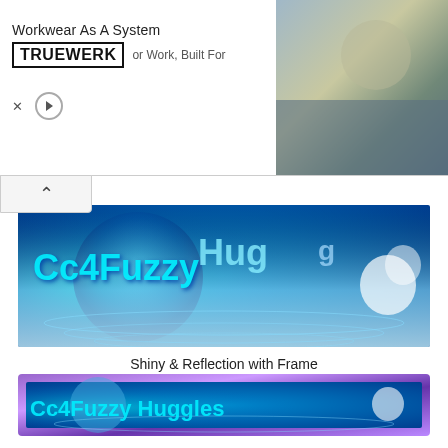[Figure (screenshot): Advertisement banner for TRUEWERK workwear with logo, text 'Workwear As A System' and 'or Work, Built For', ad close/play controls, and photo of worker on right side]
[Figure (illustration): Blue shiny banner image with text 'Cc4FuzzyHuggles' in 3D cyan letters with water reflection effect, no frame]
Shiny & Reflection with Frame
[Figure (illustration): Blue shiny banner image with text 'Cc4FuzzyHuggles' in 3D cyan letters with water reflection effect, surrounded by purple/blue decorative frame]